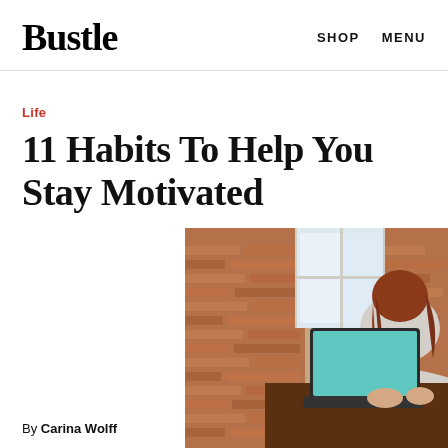Bustle  SHOP  MENU
Life
11 Habits To Help You Stay Motivated
[Figure (photo): Woman with auburn hair sitting at a wooden counter working on a laptop with a teal screen, in front of a brick wall with windows letting in natural light.]
By Carina Wolff